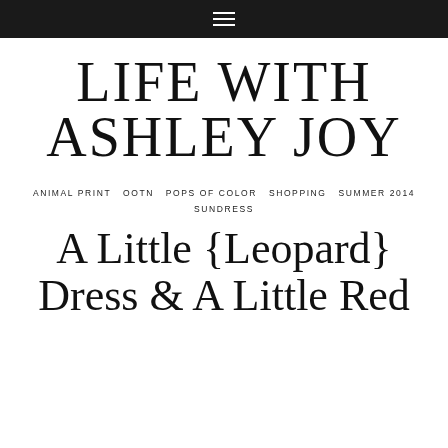≡
LIFE WITH ASHLEY JOY
ANIMAL PRINT  OOTN  POPS OF COLOR  SHOPPING  SUMMER 2014  SUNDRESS
A Little {Leopard} Dress & A Little Red